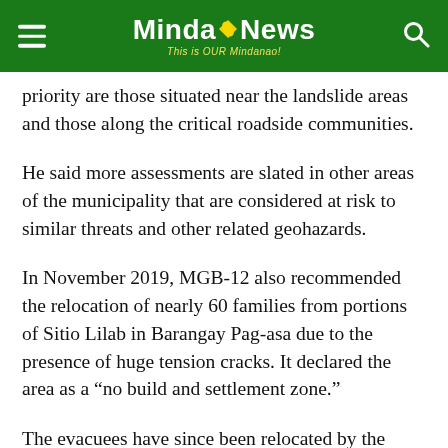MindaNews — This is OUR Mindanao!
priority are those situated near the landslide areas and those along the critical roadside communities.
He said more assessments are slated in other areas of the municipality that are considered at risk to similar threats and other related geohazards.
In November 2019, MGB-12 also recommended the relocation of nearly 60 families from portions of Sitio Lilab in Barangay Pag-asa due to the presence of huge tension cracks. It declared the area as a “no build and settlement zone.”
The evacuees have since been relocated by the municipal government to a safer area in Sitio Canaan